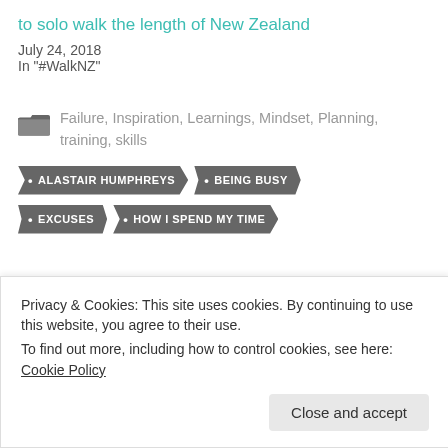to solo walk the length of New Zealand
July 24, 2018
In "#WalkNZ"
Failure, Inspiration, Learnings, Mindset, Planning, training, skills
ALASTAIR HUMPHREYS
BEING BUSY
EXCUSES
HOW I SPEND MY TIME
Privacy & Cookies: This site uses cookies. By continuing to use this website, you agree to their use.
To find out more, including how to control cookies, see here: Cookie Policy
Close and accept